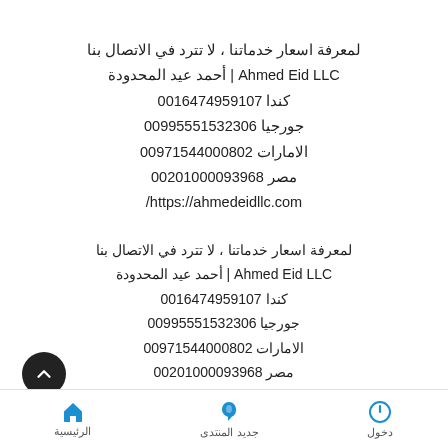لمعرفة اسعار خدماتنا ، لا تترد في الاتصال بنا
Ahmed Eid LLC | أحمد عيد المحدودة
كندا 0016474959107
جورجيا 00995551532306
الامارات 00971544000802
مصر 00201000093968
https://ahmedeidllc.com/
لمعرفة اسعار خدماتنا ، لا تترد في الاتصال بنا
Ahmed Eid LLC | أحمد عيد المحدودة
كندا 0016474959107
جورجيا 00995551532306
الامارات 00971544000802
مصر 00201000093968
الرئيسية  جديد المنتدى  دخول